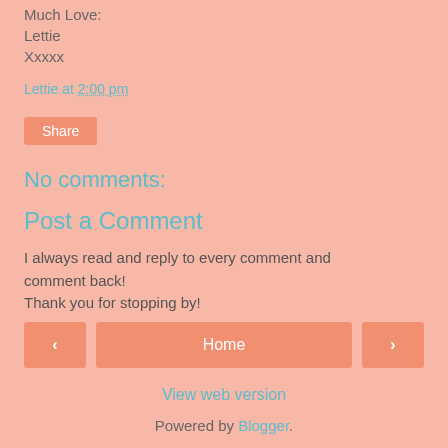Much Love:
Lettie
Xxxxx
Lettie at 2:00 pm
Share
No comments:
Post a Comment
I always read and reply to every comment and comment back!
Thank you for stopping by!
< Home >
View web version
Powered by Blogger.